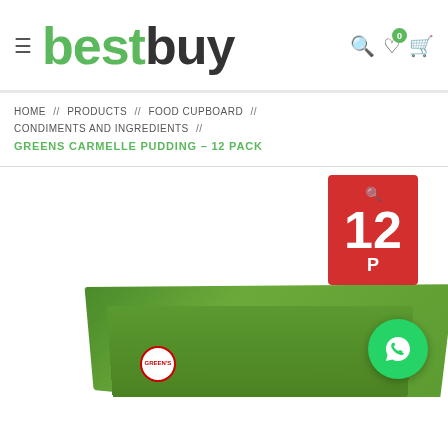[Figure (logo): bestbuy logo with green 'best' and dark 'buy' text, hamburger menu icon on left, search, heart with 0 badge, and cart icons on right]
HOME // PRODUCTS // FOOD CUPBOARD // CONDIMENTS AND INGREDIENTS //
GREENS CARMELLE PUDDING – 12 PACK
[Figure (photo): Green box of Greens Carmelle Pudding, red badge showing 12 pack, WhatsApp chat button in bottom right corner]